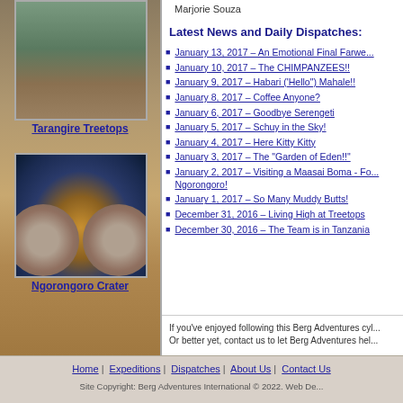[Figure (photo): Tarangire Treetops lodge photo - thatched roof building among trees]
Tarangire Treetops
[Figure (photo): Ngorongoro Crater lodge at night - illuminated building with safari vehicle in foreground]
Ngorongoro Crater
Marjorie Souza
Latest News and Daily Dispatches:
January 13, 2017 – An Emotional Final Farwe...
January 10, 2017 – The CHIMPANZEES!!
January 9, 2017 – Habari ('Hello') Mahale!!
January 8, 2017 – Coffee Anyone?
January 6, 2017 – Goodbye Serengeti
January 5, 2017 – Schuy in the Sky!
January 4, 2017 – Here Kitty Kitty
January 3, 2017 – The "Garden of Eden!!"
January 2, 2017 – Visiting a Maasai Boma - Fo... Ngorongoro!
January 1, 2017 – So Many Muddy Butts!
December 31, 2016 – Living High at Treetops
December 30, 2016 – The Team is in Tanzania
If you've enjoyed following this Berg Adventures cyl... Or better yet, contact us to let Berg Adventures hel...
Home | Expeditions | Dispatches | About Us | Contact Us
Site Copyright: Berg Adventures International © 2022. Web De...